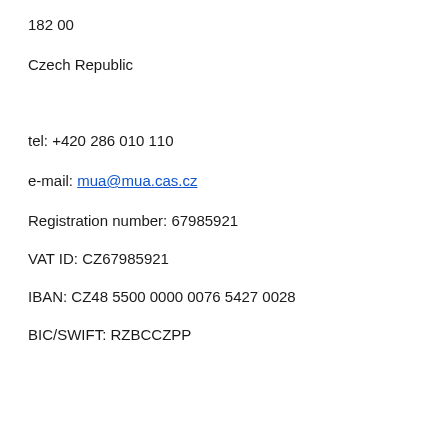182 00
Czech Republic
tel: +420 286 010 110
e-mail: mua@mua.cas.cz
Registration number: 67985921
VAT ID: CZ67985921
IBAN: CZ48 5500 0000 0076 5427 0028
BIC/SWIFT: RZBCCZPP